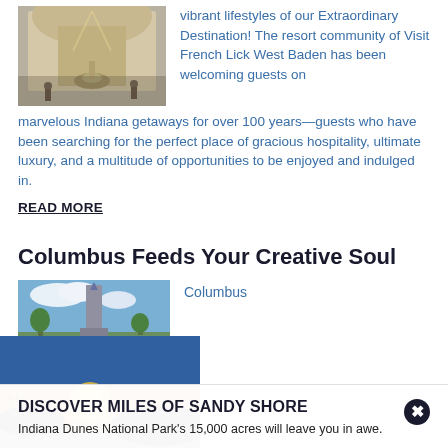[Figure (photo): Interior of a grand hotel lobby with ornate architecture, arched windows, and a fountain]
vibrant lifestyles of our Extraordinary Destination! The resort community of Visit French Lick West Baden has been welcoming guests on marvelous Indiana getaways for over 100 years—guests who have been searching for the perfect place of gracious hospitality, ultimate luxury, and a multitude of opportunities to be enjoyed and indulged in.
READ MORE
Columbus Feeds Your Creative Soul
[Figure (photo): Outdoor scenic photo of Columbus with a tall monument or sculpture against blue sky]
Columbus
[Figure (photo): Indiana Dunes beach at sunset with sandy shore and grasses]
DISCOVER MILES OF SANDY SHORE
Indiana Dunes National Park's 15,000 acres will leave you in awe.